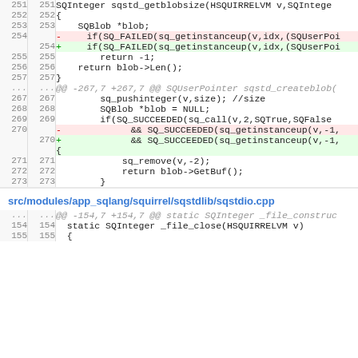[Figure (screenshot): Code diff view showing sqstd_getblobsize function changes in a source file, with removed lines highlighted in red and added lines in green. Line numbers shown on left.]
src/modules/app_sqlang/squirrel/sqstdlib/sqstdio.cpp
[Figure (screenshot): Beginning of another code diff section for sqstdio.cpp file showing static SQInteger _file_close function.]